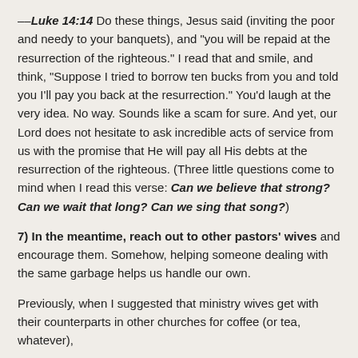--Luke 14:14 Do these things, Jesus said (inviting the poor and needy to your banquets), and "you will be repaid at the resurrection of the righteous." I read that and smile, and think, "Suppose I tried to borrow ten bucks from you and told you I'll pay you back at the resurrection." You'd laugh at the very idea. No way. Sounds like a scam for sure. And yet, our Lord does not hesitate to ask incredible acts of service from us with the promise that He will pay all His debts at the resurrection of the righteous. (Three little questions come to mind when I read this verse: Can we believe that strong? Can we wait that long? Can we sing that song?)
7) In the meantime, reach out to other pastors' wives and encourage them. Somehow, helping someone dealing with the same garbage helps us handle our own.
Previously, when I suggested that ministry wives get with their counterparts in other churches for coffee (or tea, whatever),